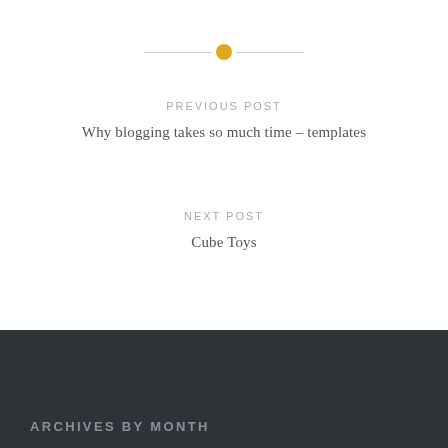PREVIOUS POST
Why blogging takes so much time – templates
NEXT POST
Cube Toys
ARCHIVES BY MONTH